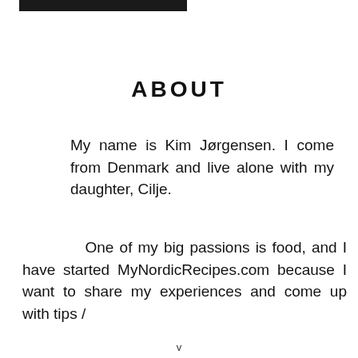[Figure (other): Black horizontal bar/rectangle at the top left of the page]
ABOUT
My name is Kim Jørgensen. I come from Denmark and live alone with my daughter, Cilje.
One of my big passions is food, and I have started MyNordicRecipes.com because I want to share my experiences and come up with tips /
v